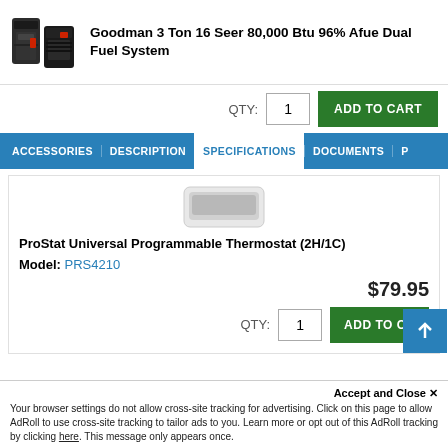[Figure (photo): Image of Goodman 3 Ton 16 Seer 80,000 Btu 96% Afue Dual Fuel System (HVAC units)]
Goodman 3 Ton 16 Seer 80,000 Btu 96% Afue Dual Fuel System
QTY: 1  ADD TO CART
ACCESSORIES  DESCRIPTION  SPECIFICATIONS  DOCUMENTS  P
[Figure (photo): ProStat Universal Programmable Thermostat device image, white rectangular shape]
ProStat Universal Programmable Thermostat (2H/1C)
Model: PRS4210
$79.95
QTY: 1  ADD TO CART
Accept and Close ✕
Your browser settings do not allow cross-site tracking for advertising. Click on this page to allow AdRoll to use cross-site tracking to tailor ads to you. Learn more or opt out of this AdRoll tracking by clicking here. This message only appears once.